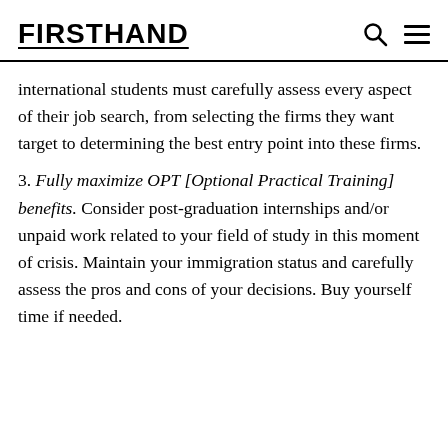FIRSTHAND
international students must carefully assess every aspect of their job search, from selecting the firms they want target to determining the best entry point into these firms.
3. Fully maximize OPT [Optional Practical Training] benefits. Consider post-graduation internships and/or unpaid work related to your field of study in this moment of crisis. Maintain your immigration status and carefully assess the pros and cons of your decisions. Buy yourself time if needed.